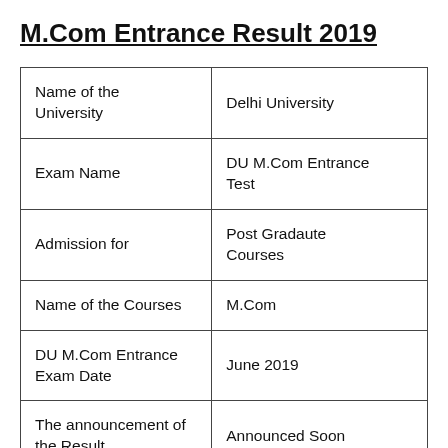M.Com Entrance Result 2019
| Name of the University | Delhi University |
| Exam Name | DU M.Com Entrance Test |
| Admission for | Post Gradaute Courses |
| Name of the Courses | M.Com |
| DU M.Com Entrance Exam Date | June 2019 |
| The announcement of the Result | Announced Soon |